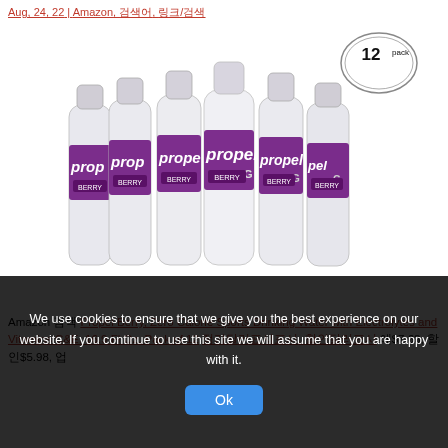Aug, 24, 22 | Amazon, 검색어, 링크/검색
[Figure (photo): Six Propel Berry flavored water bottles arranged in a group, with a '12 pack' badge in the upper right corner. Bottles are clear plastic with purple/magenta labels reading 'propel' and 'BERRY'.]
Amazon 검색Propel Berry, Zero Calorie Sports Drinking Water with Electrolytes and Vitamins C&E, 16.9 Fl Oz, Pack of 12 정가달러표시표시, 세일달러표시 와$7.68, 할인$5.98, 업
We use cookies to ensure that we give you the best experience on our website. If you continue to use this site we will assume that you are happy with it.